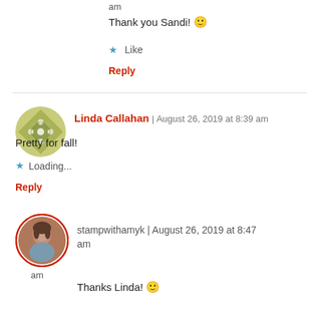am
Thank you Sandi! 🙂
★ Like
Reply
[Figure (illustration): Green geometric quilt pattern avatar in a circle]
Linda Callahan | August 26, 2019 at 8:39 am
Pretty for fall!
★ Loading...
Reply
[Figure (photo): Photo of person with red circular border avatar]
stampwithamyk | August 26, 2019 at 8:47 am
Thanks Linda! 🙂